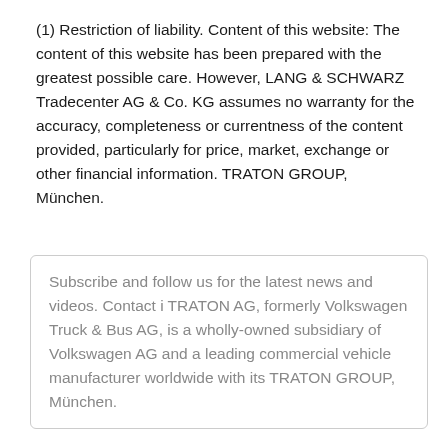(1) Restriction of liability. Content of this website: The content of this website has been prepared with the greatest possible care. However, LANG & SCHWARZ Tradecenter AG & Co. KG assumes no warranty for the accuracy, completeness or currentness of the content provided, particularly for price, market, exchange or other financial information. TRATON GROUP, München.
Subscribe and follow us for the latest news and videos. Contact i TRATON AG, formerly Volkswagen Truck & Bus AG, is a wholly-owned subsidiary of Volkswagen AG and a leading commercial vehicle manufacturer worldwide with its TRATON GROUP, München.